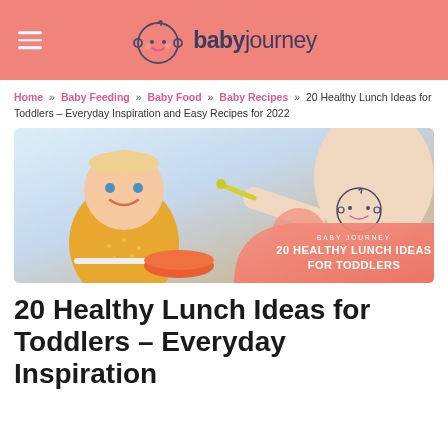babyjourney
Home » Baby Feeding » Baby Food » Baby Recipes » 20 Healthy Lunch Ideas for Toddlers – Everyday Inspiration and Easy Recipes for 2022
[Figure (photo): A smiling baby in a yellow dotted outfit sitting in a high chair, being fed by a woman with a yellow spoon. The image has a pink overlay in the bottom right corner with the Baby Journey logo and text '20 HEALTHY LUNCH IDEAS FOR TODDLERS'.]
20 Healthy Lunch Ideas for Toddlers – Everyday Inspiration